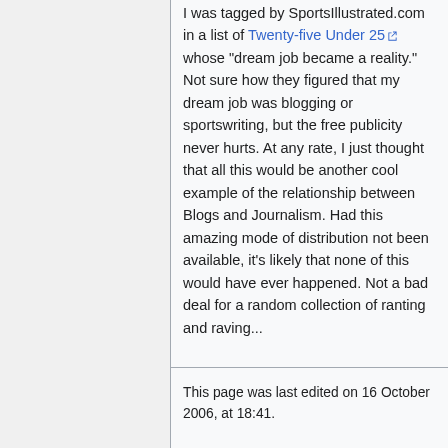I was tagged by SportsIllustrated.com in a list of Twenty-five Under 25 whose "dream job became a reality." Not sure how they figured that my dream job was blogging or sportswriting, but the free publicity never hurts. At any rate, I just thought that all this would be another cool example of the relationship between Blogs and Journalism. Had this amazing mode of distribution not been available, it's likely that none of this would have ever happened. Not a bad deal for a random collection of ranting and raving...
This page was last edited on 16 October 2006, at 18:41.
Privacy policy · About CyberOne Wiki · Disclaimers